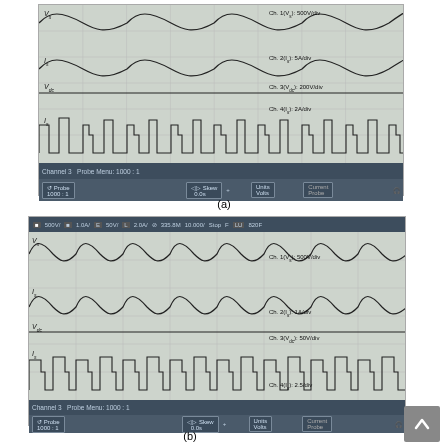[Figure (oscilloscope-screenshot): Oscilloscope screenshot (a): Four channel display showing Vs (sinusoidal, Ch.1 500V/div), Is (sinusoidal, Ch.2 5A/div), Vdc (Ch.3 200V/div), and Is (switched waveform, Ch.4 2A/div). Channel 3 Probe Menu 1000:1, Probe 1000:1, Skew 0.0s, Units Volts.]
(a)
[Figure (oscilloscope-screenshot): Oscilloscope screenshot (b): Four channel display with header showing 500V/, 1.0A/, 50V/, 2.0A/, 335.8M, 10.000/, Stop, F, 820F. Shows Vs (sinusoidal, Ch.1 500V/div), Is (sinusoidal, Ch.2 1A/div), Vdc (Ch.3 50V/div), and Is (switched waveform, Ch.4 2.5/div). Channel 3 Probe Menu 1000:1, Probe 1000:1, Skew 0.0s, Units Volts.]
(b)